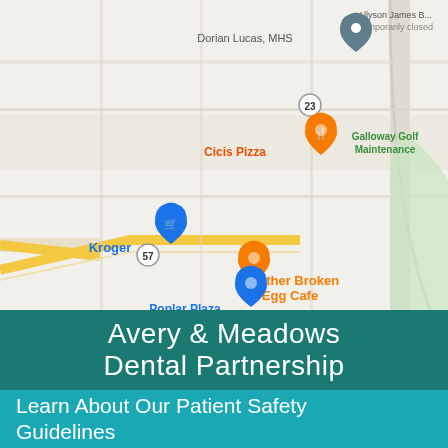[Figure (map): Google Maps screenshot showing area with Kroger, Cicis Pizza, Another Broken Egg Cafe, People's Market, Poplar Plaza, Party City, Petco, Perkins Restaurant, Shelby County Clerk's Office, Galloway Golf Maintenance, Dorian Lucas MHS. Roads include Lily Ln, W Galloway Dr, and route 57 and 23.]
Avery & Meadows Dental Partnership
Learn About Our Patient Safety Guidelines